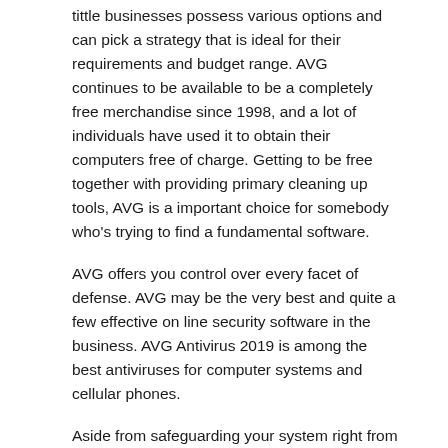tittle businesses possess various options and can pick a strategy that is ideal for their requirements and budget range. AVG continues to be available to be a completely free merchandise since 1998, and a lot of individuals have used it to obtain their computers free of charge. Getting to be free together with providing primary cleaning up tools, AVG is a important choice for somebody who's trying to find a fundamental software.
AVG offers you control over every facet of defense. AVG may be the very best and quite a few effective on line security software in the business. AVG Antivirus 2019 is among the best antiviruses for computer systems and cellular phones.
Aside from safeguarding your system right from many viruses and malevolent software, you also receive the AVG LinkScanner feature, which is a characteristic that enables you to scan each link you visit on the web. The Record Shredder function makes it possible to to remove your documents completely, so that that can't be retrieved using data recovery program. There are also an AVG Zen function